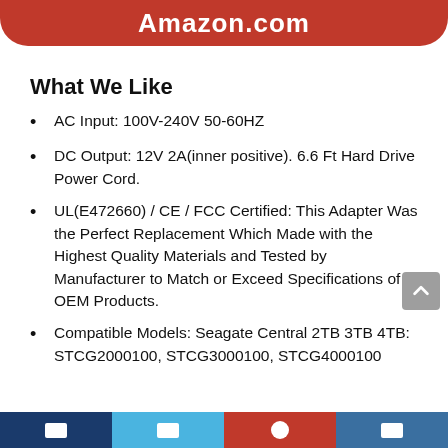Amazon.com
What We Like
AC Input: 100V-240V 50-60HZ
DC Output: 12V 2A(inner positive). 6.6 Ft Hard Drive Power Cord.
UL(E472660) / CE / FCC Certified: This Adapter Was the Perfect Replacement Which Made with the Highest Quality Materials and Tested by Manufacturer to Match or Exceed Specifications of OEM Products.
Compatible Models: Seagate Central 2TB 3TB 4TB: STCG2000100, STCG3000100, STCG4000100